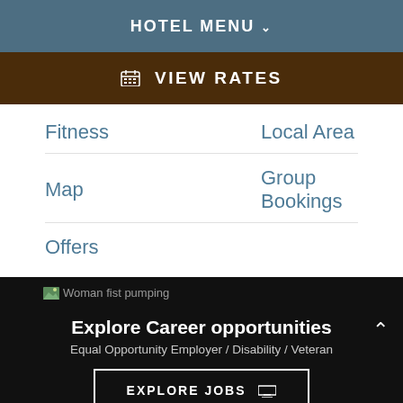HOTEL MENU ∨
📅 VIEW RATES
Fitness
Local Area
Map
Group Bookings
Offers
[Figure (photo): Woman fist pumping — background image for careers section]
Explore Career opportunities
Equal Opportunity Employer / Disability / Veteran
EXPLORE JOBS